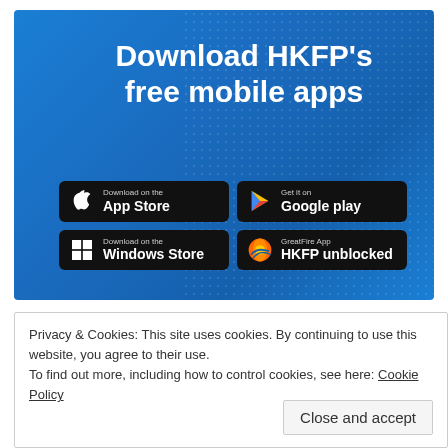[Figure (infographic): Blue banner with 'Download HKFP's free mobile apps' headline and four app store buttons: App Store, Google Play, Windows Store, GreatFire App HKFP unblocked]
Privacy & Cookies: This site uses cookies. By continuing to use this website, you agree to their use.
To find out more, including how to control cookies, see here: Cookie Policy
Close and accept